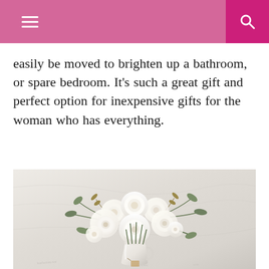navigation header with hamburger menu and search icon
easily be moved to brighten up a bathroom, or spare bedroom. It’s such a great gift and perfect option for inexpensive gifts for the woman who has everything.
[Figure (photo): A bouquet of white roses and greenery arranged in a white ceramic pitcher vase, placed on a draped white cloth background with faint text/handwriting pattern.]